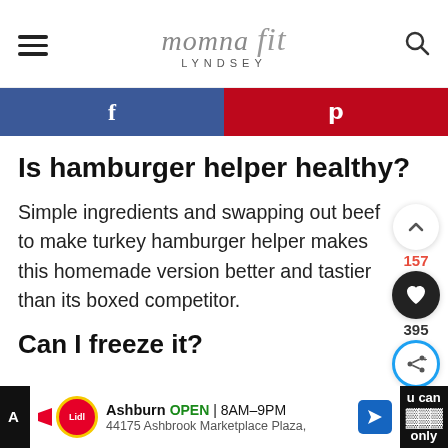momna fit LYNDSEY
[Figure (screenshot): Social sharing bar with Facebook (blue) and Pinterest (red) buttons]
Is hamburger helper healthy?
Simple ingredients and swapping out beef to make turkey hamburger helper makes this homemade version better and tastier than its boxed competitor.
Can I freeze it?
[Figure (screenshot): Floating UI: scroll-up button (157 count), heart/save button, share button (395 count)]
[Figure (screenshot): Advertisement bar at bottom: Lidl store in Ashburn, OPEN 8AM-9PM, 44175 Ashbrook Marketplace Plaza]